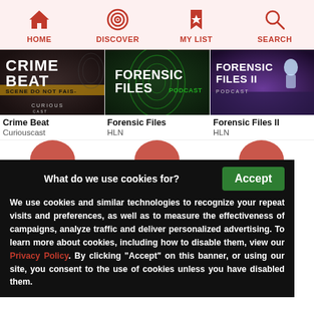[Figure (screenshot): App navigation bar with HOME, DISCOVER, MY LIST, SEARCH icons in red on light pink background]
[Figure (photo): Crime Beat podcast thumbnail - dark moody photo with CRIME BEAT text and Curiouscast logo]
Crime Beat
Curiouscast
[Figure (photo): Forensic Files Podcast thumbnail - green fingerprint background with FORENSIC FILES PODCAST text]
Forensic Files
HLN
[Figure (photo): Forensic Files II Podcast thumbnail - purple/blue background with FORENSIC FILES II PODCAST text]
Forensic Files II
HLN
What do we use cookies for?
We use cookies and similar technologies to recognize your repeat visits and preferences, as well as to measure the effectiveness of campaigns, analyze traffic and deliver personalized advertising. To learn more about cookies, including how to disable them, view our Privacy Policy. By clicking "Accept" on this banner, or using our site, you consent to the use of cookies unless you have disabled them.